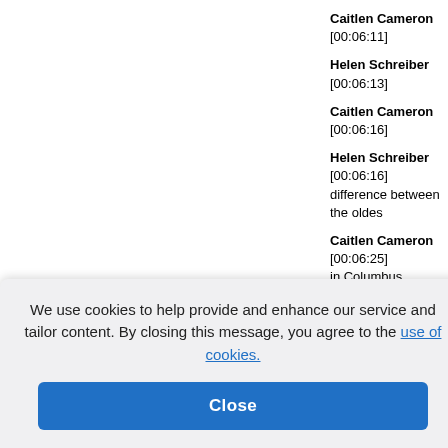Caitlen Cameron [00:06:11]
Helen Schreiber [00:06:13]
Caitlen Cameron [00:06:16]
Helen Schreiber [00:06:16] difference between the oldes
Caitlen Cameron [00:06:25] in Columbus...
Helen Schreiber [00:06:27]
Caitlen Cameron [00:06:28]
Helen Schreiber [00:06:31]
Caitlen Cameron [00:06:34
[00:06:38] se Western rs of every
n [00:06:54]
[00:06:54]
n [00:06:57
So...
We use cookies to help provide and enhance our service and tailor content. By closing this message, you agree to the use of cookies.
Close